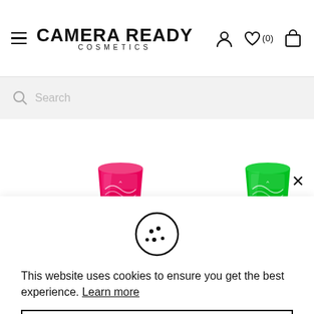CAMERA READY COSMETICS
Search
[Figure (screenshot): Two cosmetic products partially visible - a pink/red one on the left and a green one on the right, both appear to be small containers with product labels]
This website uses cookies to ensure you get the best experience. Learn more
Accept
CART CART